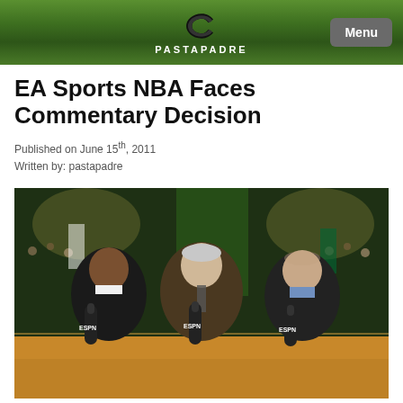PASTAPADRE — Menu
EA Sports NBA Faces Commentary Decision
Published on June 15th, 2011
Written by: pastapadre
[Figure (photo): Three ESPN commentators/analysts sitting courtside at an NBA basketball game, each holding ESPN-branded microphones. A Boston Celtics arena is visible in the background with players warming up.]